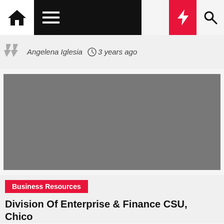Navigation bar with home, menu, moon, lightning, and search icons
Angelena Iglesia  3 years ago
[Figure (photo): Gray rectangular image placeholder for article]
Business Resources
Division Of Enterprise & Finance CSU, Chico